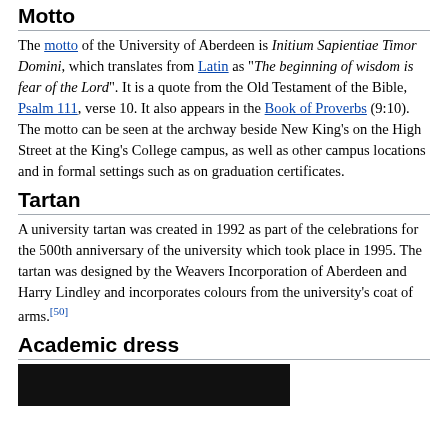Motto
The motto of the University of Aberdeen is Initium Sapientiae Timor Domini, which translates from Latin as "The beginning of wisdom is fear of the Lord". It is a quote from the Old Testament of the Bible, Psalm 111, verse 10. It also appears in the Book of Proverbs (9:10). The motto can be seen at the archway beside New King's on the High Street at the King's College campus, as well as other campus locations and in formal settings such as on graduation certificates.
Tartan
A university tartan was created in 1992 as part of the celebrations for the 500th anniversary of the university which took place in 1995. The tartan was designed by the Weavers Incorporation of Aberdeen and Harry Lindley and incorporates colours from the university's coat of arms.[50]
Academic dress
[Figure (photo): Partial view of a photo related to academic dress, dark background]